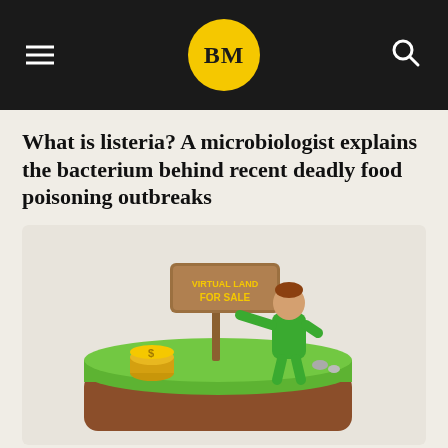BM
What is listeria? A microbiologist explains the bacterium behind recent deadly food poisoning outbreaks
[Figure (illustration): 3D illustration of a clay-style figurine of a man in a green vest standing on a green and brown block of land, next to a wooden sign reading 'VIRTUAL LAND FOR SALE', with gold coins nearby]